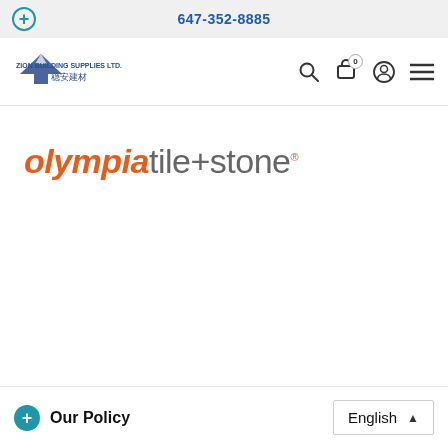647-352-8885
[Figure (logo): Zion Building Supplies Ltd. logo with mountain/house icon and Chinese characters]
[Figure (logo): olympia tile+stone brand logo in orange italic and gray text]
Our Policy
English